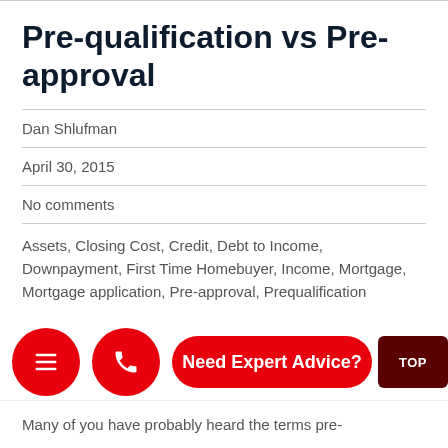Pre-qualification vs Pre-approval
Dan Shlufman
April 30, 2015
No comments
Assets, Closing Cost, Credit, Debt to Income, Downpayment, First Time Homebuyer, Income, Mortgage, Mortgage application, Pre-approval, Prequalification
Many of you have probably heard the terms pre-